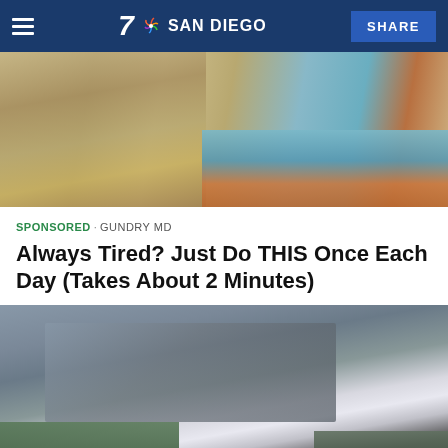7 SAN DIEGO | SHARE
[Figure (photo): Man in suit pointing at a cross-section diagram of soil/earth layers with blue and brown layers visible]
SPONSORED · GUNDRY MD
Always Tired? Just Do THIS Once Each Day (Takes About 2 Minutes)
[Figure (photo): Futuristic white electric bicycle parked under a bridge overpass with green trees and foliage in the background]